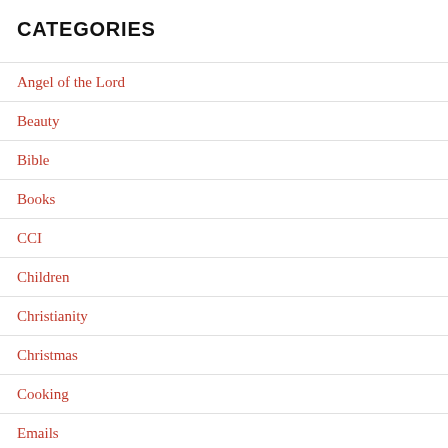CATEGORIES
Angel of the Lord
Beauty
Bible
Books
CCI
Children
Christianity
Christmas
Cooking
Emails